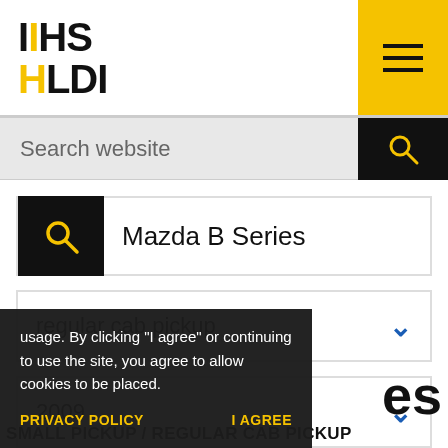IIHS HLDI
Search website
Mazda B Series
regular cab pickup
2009
usage. By clicking "I agree" or continuing to use the site, you agree to allow cookies to be placed.
PRIVACY POLICY
I AGREE
es
SMALL PICKUP / REGULAR CAB PICKUP